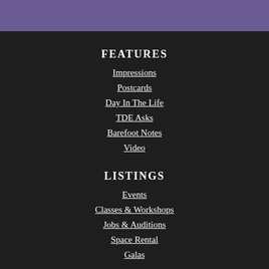[Figure (other): Purple decorative header bar]
FEATURES
Impressions
Postcards
Day In The Life
TDE Asks
Barefoot Notes
Video
LISTINGS
Events
Classes & Workshops
Jobs & Auditions
Space Rental
Galas